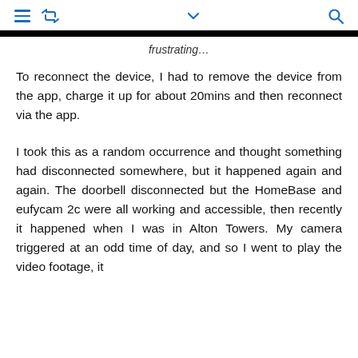[menu icon] [retweet icon] [chevron icon] [search icon]
[Figure (other): Black horizontal bar spanning the width of the page]
frustrating...
To reconnect the device, I had to remove the device from the app, charge it up for about 20mins and then reconnect via the app.
I took this as a random occurrence and thought something had disconnected somewhere, but it happened again and again. The doorbell disconnected but the HomeBase and eufycam 2c were all working and accessible, then recently it happened when I was in Alton Towers. My camera triggered at an odd time of day, and so I went to play the video footage, it